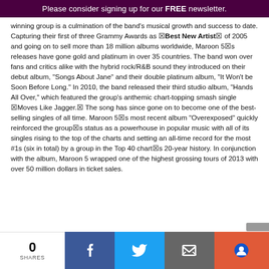Please consider signing up for our FREE newsletter.
winning group is a culmination of the band’s musical growth and success to date. Capturing their first of three Grammy Awards as “Best New Artist” of 2005 and going on to sell more than 18 million albums worldwide, Maroon 5’s releases have gone gold and platinum in over 35 countries. The band won over fans and critics alike with the hybrid rock/R&B sound they introduced on their debut album, “Songs About Jane” and their double platinum album, “It Won’t be Soon Before Long.” In 2010, the band released their third studio album, “Hands All Over,” which featured the group’s anthemic chart-topping smash single “Moves Like Jagger.” The song has since gone on to become one of the best-selling singles of all time. Maroon 5’s most recent album “Overexposed” quickly reinforced the group’s status as a powerhouse in popular music with all of its singles rising to the top of the charts and setting an all-time record for the most #1s (six in total) by a group in the Top 40 chart’s 20-year history. In conjunction with the album, Maroon 5 wrapped one of the highest grossing tours of 2013 with over 50 million dollars in ticket sales.
0 SHARES | Facebook | Twitter | Email | Share